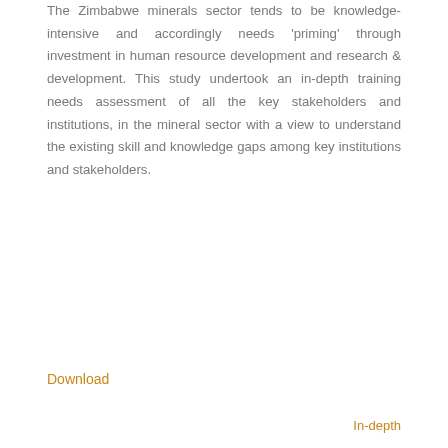The Zimbabwe minerals sector tends to be knowledge-intensive and accordingly needs 'priming' through investment in human resource development and research & development. This study undertook an in-depth training needs assessment of all the key stakeholders and institutions, in the mineral sector with a view to understand the existing skill and knowledge gaps among key institutions and stakeholders.
Download
In-depth